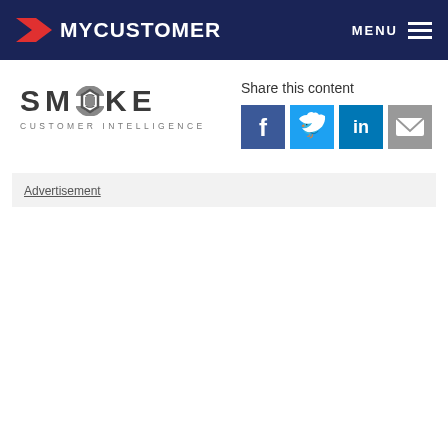MYCUSTOMER | MENU
[Figure (logo): Smoke Customer Intelligence logo with stylized O in grey tones]
Share this content
[Figure (infographic): Social share buttons: Facebook (blue), Twitter (light blue), LinkedIn (blue), Email (grey)]
Advertisement